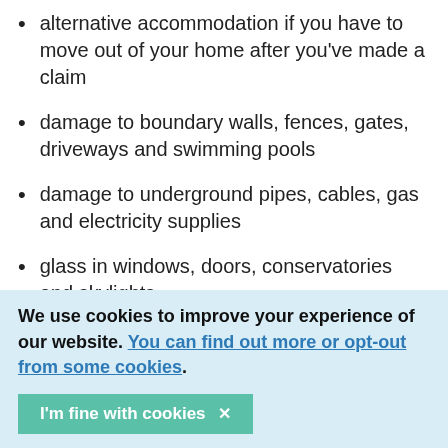alternative accommodation if you have to move out of your home after you've made a claim
damage to boundary walls, fences, gates, driveways and swimming pools
damage to underground pipes, cables, gas and electricity supplies
glass in windows, doors, conservatories and skylights
liability cover if someone else's property is also damaged
legal expenses cover
We use cookies to improve your experience of our website. You can find out more or opt-out from some cookies.
I'm fine with cookies ×